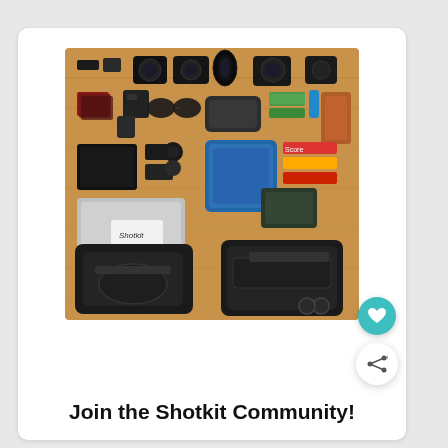[Figure (photo): Flat-lay photograph of camera photography gear and accessories spread out on a wooden surface, including cameras, lenses, bags, laptop with 'Shotkit' sticker, blue packing cube, snack bars, sunglasses, cards, phone, chargers, wallet, and camera strap. Two black bags are at the bottom.]
Join the Shotkit Community!